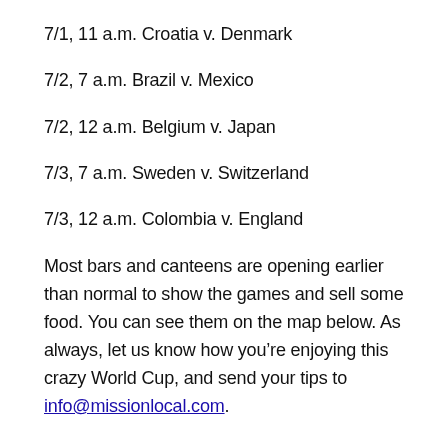7/1, 11 a.m. Croatia v. Denmark
7/2, 7 a.m. Brazil v. Mexico
7/2, 12 a.m. Belgium v. Japan
7/3, 7 a.m. Sweden v. Switzerland
7/3, 12 a.m. Colombia v. England
Most bars and canteens are opening earlier than normal to show the games and sell some food. You can see them on the map below. As always, let us know how you’re enjoying this crazy World Cup, and send your tips to info@missionlocal.com.